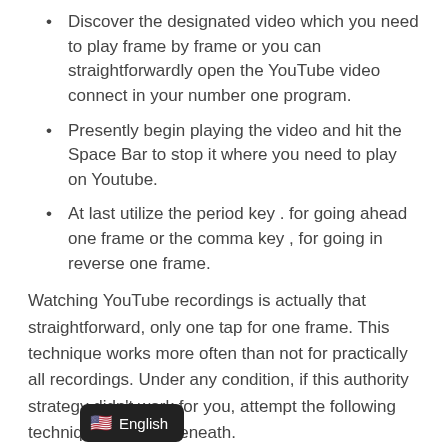Discover the designated video which you need to play frame by frame or you can straightforwardly open the YouTube video connect in your number one program.
Presently begin playing the video and hit the Space Bar to stop it where you need to play on Youtube.
At last utilize the period key . for going ahead one frame or the comma key , for going in reverse one frame.
Watching YouTube recordings is actually that straightforward, only one tap for one frame. This technique works more often than not for practically all recordings. Under any condition, if this authority strategy didn't work for you, attempt the following technique clarified beneath.
Method 2: Watch YouTube Videos Frame by Frame Using External Site
The greater part of the recordings transferred on are encoded to help playing. In the event that your video doesn't uphold it, you can do it with the assistance of outside sites. The second